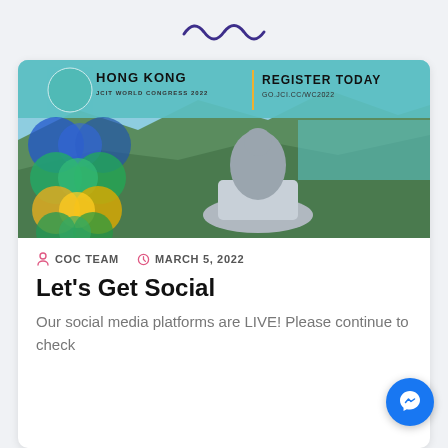[Figure (illustration): Purple zigzag/wave decorative logo mark at top center of page]
[Figure (photo): Hong Kong JCIT World Congress 2022 event banner showing Tian Tan Buddha statue with mountains and sea in background. Teal overlay at top with HONG KONG JCIT WORLD CONGRESS 2022 text on left and REGISTER TODAY GO.JCI.CC/WC2022 on right. Colorful blob shapes (blue, green, yellow) on left side.]
COC TEAM   MARCH 5, 2022
Let's Get Social
Our social media platforms are LIVE! Please continue to check